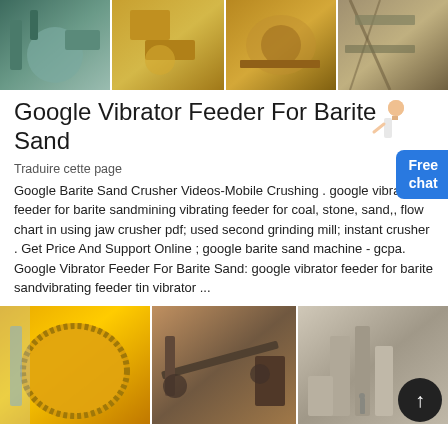[Figure (photo): Strip of four industrial mining equipment photos at top: green machinery/pipes, yellow crushers, orange/brown conveyor equipment, metal scaffolding machinery]
Google Vibrator Feeder For Barite Sand
Traduire cette page
Google Barite Sand Crusher Videos-Mobile Crushing . google vibrato feeder for barite sandmining vibrating feeder for coal, stone, sand,, flow chart in using jaw crusher pdf; used second grinding mill; instant crusher . Get Price And Support Online ; google barite sand machine - gcpa. Google Vibrator Feeder For Barite Sand: google vibrator feeder for barite sandvibrating feeder tin vibrator ...
[Figure (photo): Strip of three industrial mining equipment photos at bottom: large yellow ball mill/drum, conveyor belt system, stone crushing plant facility]